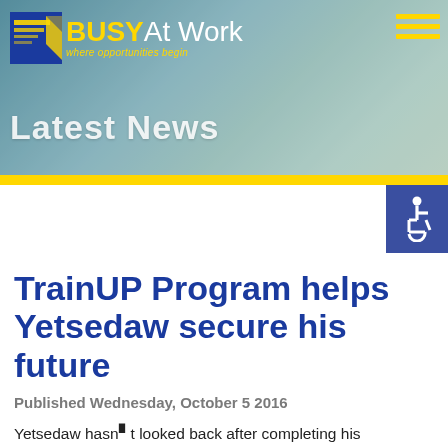[Figure (photo): BUSY At Work header banner with logo, tagline 'where opportunities begin', and 'Latest News' text overlaid on a background photo of people in hospitality uniforms]
[Figure (other): Accessibility/disability icon (wheelchair symbol) in a blue square]
TrainUP Program helps Yetsedaw secure his future
Published Wednesday, October 5 2016
Yetsedaw hasn't looked back after completing his Certificate II in Hospitality at the Hotel Jen, in Brisbane.
Hotel Houseman Yetsedaw Dessie has come a long way